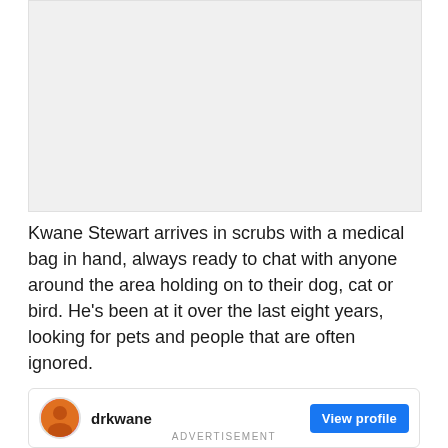[Figure (photo): Gray placeholder image area for a photo]
Kwane Stewart arrives in scrubs with a medical bag in hand, always ready to chat with anyone around the area holding on to their dog, cat or bird. He's been at it over the last eight years, looking for pets and people that are often ignored.
[Figure (screenshot): Social media card showing user drkwane with avatar and View profile button]
ADVERTISEMENT